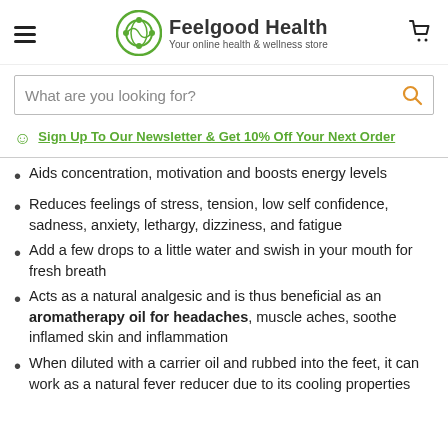Feelgood Health — Your online health & wellness store
What are you looking for?
Sign Up To Our Newsletter & Get 10% Off Your Next Order
Aids concentration, motivation and boosts energy levels
Reduces feelings of stress, tension, low self confidence, sadness, anxiety, lethargy, dizziness, and fatigue
Add a few drops to a little water and swish in your mouth for fresh breath
Acts as a natural analgesic and is thus beneficial as an aromatherapy oil for headaches, muscle aches, soothe inflamed skin and inflammation
When diluted with a carrier oil and rubbed into the feet, it can work as a natural fever reducer due to its cooling properties